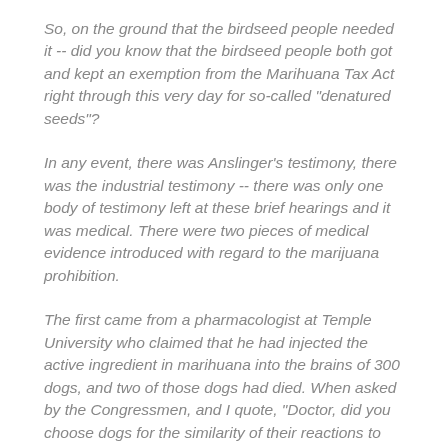So, on the ground that the birdseed people needed it -- did you know that the birdseed people both got and kept an exemption from the Marihuana Tax Act right through this very day for so-called "denatured seeds"?
In any event, there was Anslinger's testimony, there was the industrial testimony -- there was only one body of testimony left at these brief hearings and it was medical. There were two pieces of medical evidence introduced with regard to the marijuana prohibition.
The first came from a pharmacologist at Temple University who claimed that he had injected the active ingredient in marihuana into the brains of 300 dogs, and two of those dogs had died. When asked by the Congressmen, and I quote, "Doctor, did you choose dogs for the similarity of their reactions to that of humans?" The answer of the